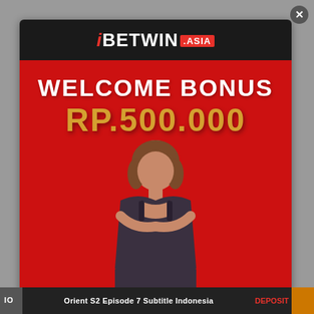[Figure (screenshot): iBETWIN.ASIA advertisement popup showing a welcome bonus of RP.500.000 with a woman model on a red background, displayed as an overlay on a webpage with a dark header bar containing the logo and a bottom navigation strip.]